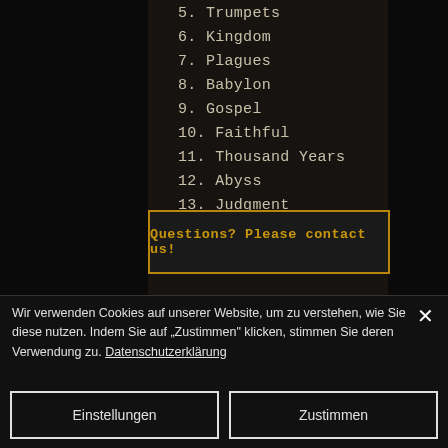5. Trumpets
6. Kingdom
7. Plagues
8. Babylon
9. Gospel
10. Faithful
11. Thousand Years
12. Abyss
13. Judgment
14. New Earth
Questions? Please contact us!
Wir verwenden Cookies auf unserer Website, um zu verstehen, wie Sie diese nutzen. Indem Sie auf „Zustimmen" klicken, stimmen Sie deren Verwendung zu. Datenschutzerklärung
Einstellungen
Zustimmen